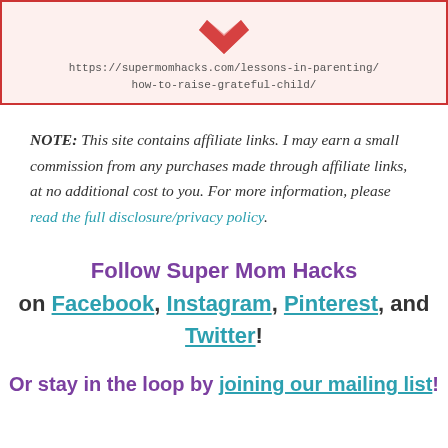[Figure (illustration): Top portion of an infographic with a red heart shape and a URL: https://supermomhacks.com/lessons-in-parenting/how-to-raise-grateful-child/]
NOTE: This site contains affiliate links. I may earn a small commission from any purchases made through affiliate links, at no additional cost to you. For more information, please read the full disclosure/privacy policy.
Follow Super Mom Hacks on Facebook, Instagram, Pinterest, and Twitter!
Or stay in the loop by joining our mailing list!